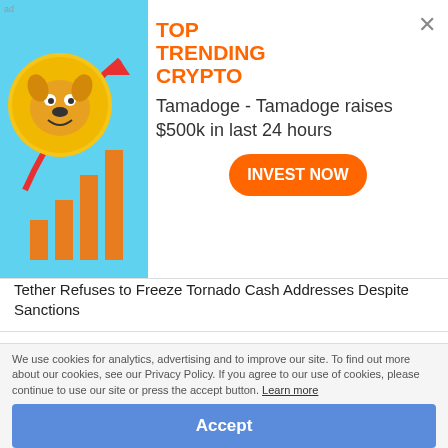[Figure (infographic): Ad banner for Tamadoge crypto - shows a cartoon dog coin with upward trending bar chart on cyan background]
TOP TRENDING CRYPTO
Tamadoge - Tamadoge raises $500k in last 24 hours
INVEST NOW
Tether Refuses to Freeze Tornado Cash Addresses Despite Sanctions
Crypto VC Firm Formed By Polygon Founder Raises $50 Million With Focus on Web3
Singapore Plans for Tougher Rules for Retail Crypto Trading, Probes Crypto Firms
Mt. Gox Trustee Releases Update on Repayment Procedure, Dismiss Rumors of Bitcoin Dump
FBI Wants DeFi Platforms To Improve Their Security Measures
We use cookies for analytics, advertising and to improve our site. To find out more about our cookies, see our Privacy Policy. If you agree to our use of cookies, please continue to use our site or press the accept button. Learn more
Accept